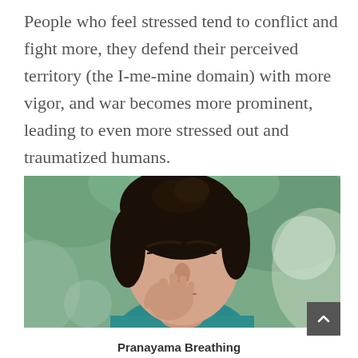People who feel stressed tend to conflict and fight more, they defend their perceived territory (the I-me-mine domain) with more vigor, and war becomes more prominent, leading to even more stressed out and traumatized humans.
[Figure (photo): A woman with dark hair up, eyes closed, touching her nose with her fingers, practicing pranayama breathing. Background is blurred green foliage. She wears a teal top.]
Pranayama Breathing